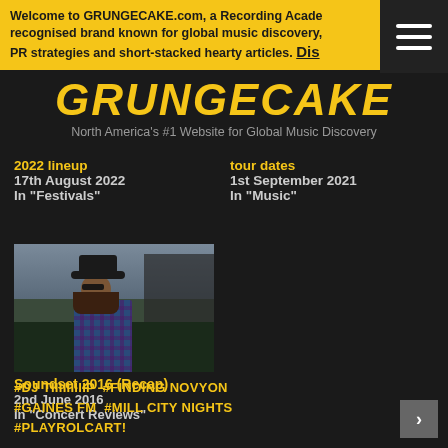Welcome to GRUNGECAKE.com, a Recording Academy recognised brand known for global music discovery, PR strategies and short-stacked hearty articles. DIS
GRUNGECAKE
North America's #1 Website for Global Music Discovery
2022 lineup
17th August 2022
In "Festivals"
tour dates
1st September 2021
In "Music"
[Figure (photo): Person wearing a wide-brim hat and blue plaid shirt, photographed outdoors]
Soundset 2016 (Recap)
2nd June 2016
In "Concert Reviews"
#DJ TIIIIIIIIIP  #FINDING NOVYON
#GAINES FM  #MILL CITY NIGHTS
#PLAYROLCART!